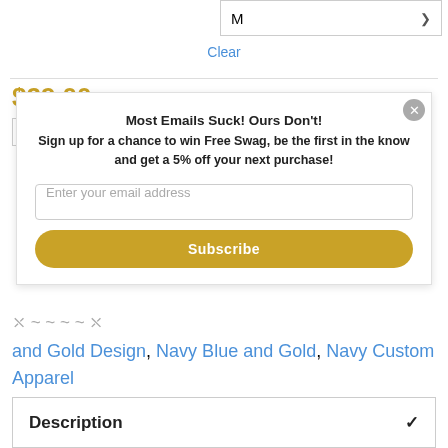M
Clear
$29.00
Most Emails Suck! Ours Don't!
Sign up for a chance to win Free Swag, be the first in the know and get a 5% off your next purchase!
Enter your email address
Subscribe
and Gold Design, Navy Blue and Gold, Navy Custom Apparel
Description ✓